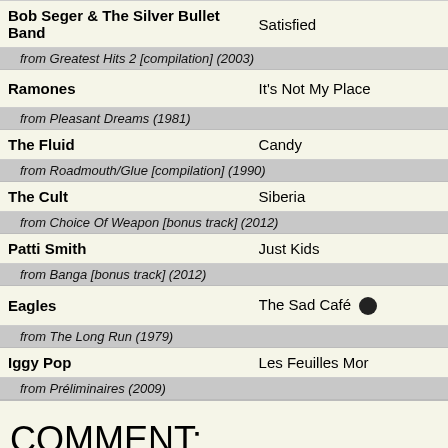| Artist | Song |
| --- | --- |
| Bob Seger & The Silver Bullet Band | Satisfied |
| from Greatest Hits 2 [compilation] (2003) |  |
| Ramones | It's Not My Place |
| from Pleasant Dreams (1981) |  |
| The Fluid | Candy |
| from Roadmouth/Glue [compilation] (1990) |  |
| The Cult | Siberia |
| from Choice Of Weapon [bonus track] (2012) |  |
| Patti Smith | Just Kids |
| from Banga [bonus track] (2012) |  |
| Eagles | The Sad Café |
| from The Long Run (1979) |  |
| Iggy Pop | Les Feuilles Mor... |
| from Préliminaires (2009) |  |
COMMENT:
FEEDBACK: